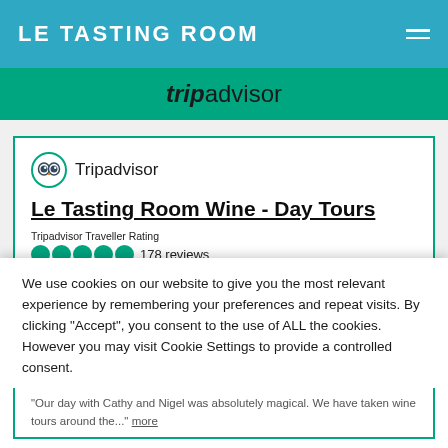LE TASTING ROOM
[Figure (logo): TripAdvisor logo on teal green banner background]
[Figure (screenshot): TripAdvisor widget card for Le Tasting Room Wine - Day Tours showing logo, title, and 5-circle rating with 178 reviews]
We use cookies on our website to give you the most relevant experience by remembering your preferences and repeat visits. By clicking “Accept”, you consent to the use of ALL the cookies. However you may visit Cookie Settings to provide a controlled consent.
Cookie settings
ACCEPT
“Our day with Cathy and Nigel was absolutely magical. We have taken wine tours around the...” more